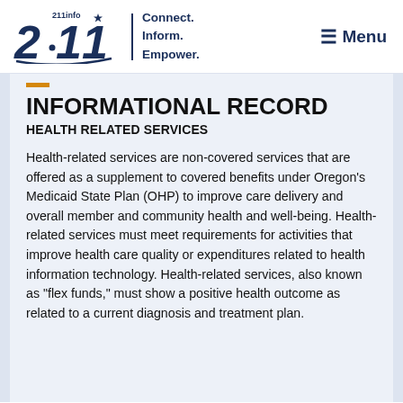[Figure (logo): 211info logo with star, vertical divider, and tagline 'Connect. Inform. Empower.']
INFORMATIONAL RECORD
HEALTH RELATED SERVICES
Health-related services are non-covered services that are offered as a supplement to covered benefits under Oregon's Medicaid State Plan (OHP) to improve care delivery and overall member and community health and well-being. Health-related services must meet requirements for activities that improve health care quality or expenditures related to health information technology. Health-related services, also known as "flex funds," must show a positive health outcome as related to a current diagnosis and treatment plan.